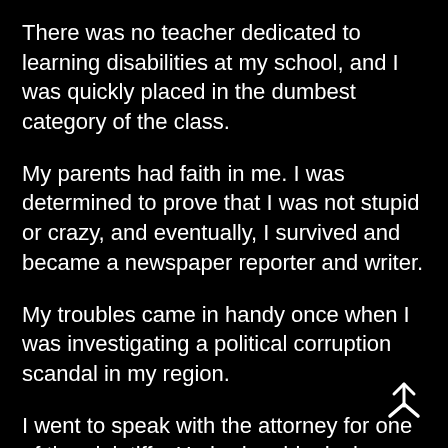There was no teacher dedicated to learning disabilities at my school, and I was quickly placed in the dumbest category of the class.
My parents had faith in me. I was determined to prove that I was not stupid or crazy, and eventually, I survived and became a newspaper reporter and writer.
My troubles came in handy once when I was investigating a political corruption scandal in my region.
I went to speak with the attorney for one of the plaintiffs. He had on his desk a document on top of a pile of papers. Out of habit, I began to read backward from my side and was surprised because it was an order to summon a “person